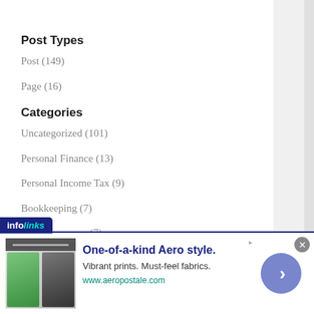Post Types
Post (149)
Page (16)
Categories
Uncategorized (101)
Personal Finance (13)
Personal Income Tax (9)
Bookkeeping (7)
Cryptocurrency (7)
Tags
cryptocurrency (8)
[Figure (screenshot): Aeropostale advertisement banner with infolinks badge, showing magazine covers and ad text 'One-of-a-kind Aero style. Vibrant prints. Must-feel fabrics. www.aeropostale.com']